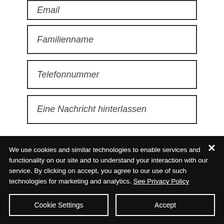[Figure (screenshot): Web form with input fields: Email (partially visible at top), Familienname, Telefonnummer, Eine Nachricht hinterlassen (partially visible)]
We use cookies and similar technologies to enable services and functionality on our site and to understand your interaction with our service. By clicking on accept, you agree to our use of such technologies for marketing and analytics. See Privacy Policy
Cookie Settings
Accept